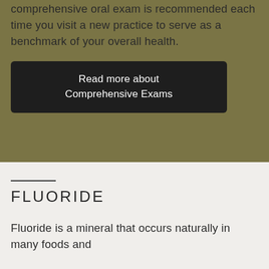comprehensive oral exam is recommended each time you visit a new practice to serve as a benchmark of your overall health.
Read more about Comprehensive Exams
FLUORIDE
Fluoride is a mineral that occurs naturally in many foods and